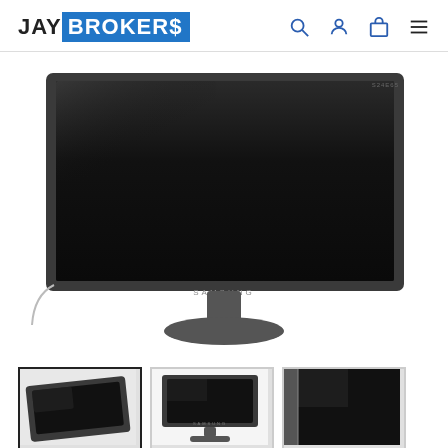JAY BROKERS
[Figure (photo): Samsung wide-screen LCD monitor (black) on a stand, photographed against white background. A cable is visible on the left side. The monitor screen is off/black.]
[Figure (photo): Thumbnail 1: Close-up angled view from above of the Samsung monitor, selected (bordered).]
[Figure (photo): Thumbnail 2: Front-facing view of the Samsung monitor on its stand.]
[Figure (photo): Thumbnail 3: Close-up of the side/edge of the Samsung monitor bezel.]